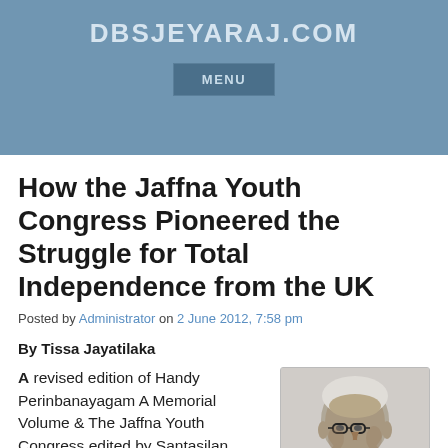DBSJEYARAJ.COM
MENU
How the Jaffna Youth Congress Pioneered the Struggle for Total Independence from the UK
Posted by Administrator on 2 June 2012, 7:58 pm
By Tissa Jayatilaka
A revised edition of Handy Perinbanayagam A Memorial Volume & The Jaffna Youth Congress edited by Santasilan Kadirgamar, published by
[Figure (photo): Black and white portrait photograph of an elderly man wearing glasses and a light-colored jacket]